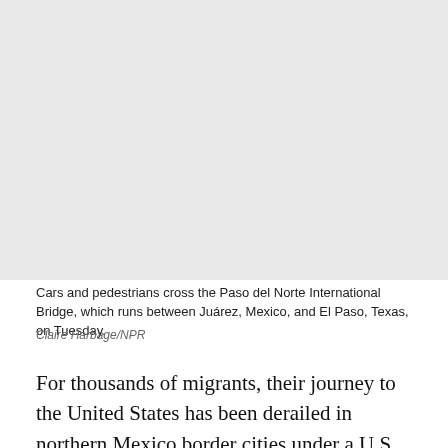[Figure (photo): Photo of cars and pedestrians crossing the Paso del Norte International Bridge between Juárez, Mexico and El Paso, Texas.]
Cars and pedestrians cross the Paso del Norte International Bridge, which runs between Juárez, Mexico, and El Paso, Texas, on Tuesday.
Claire Harbage/NPR
For thousands of migrants, their journey to the United States has been derailed in northern Mexico border cities under a U.S. program called Migrant Protection Protocols. With